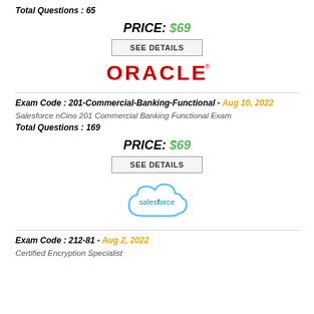Total Questions : 65
PRICE: $69
SEE DETAILS
[Figure (logo): Oracle logo in red bold letters]
Exam Code : 201-Commercial-Banking-Functional - Aug 10, 2022
Salesforce nCino 201 Commercial Banking Functional Exam
Total Questions : 169
PRICE: $69
SEE DETAILS
[Figure (logo): Salesforce cloud logo in light blue]
Exam Code : 212-81 - Aug 2, 2022
Certified Encryption Specialist